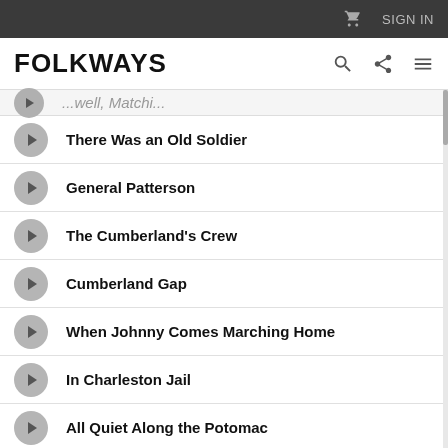SIGN IN
FOLKWAYS
There Was an Old Soldier
General Patterson
The Cumberland's Crew
Cumberland Gap
When Johnny Comes Marching Home
In Charleston Jail
All Quiet Along the Potomac
Longstreet's Rangers
Goober Peas